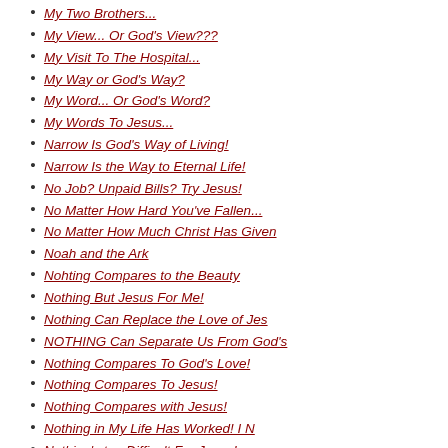My Two Brothers...
My View... Or God's View???
My Visit To The Hospital...
My Way or God's Way?
My Word... Or God's Word?
My Words To Jesus...
Narrow Is God's Way of Living!
Narrow Is the Way to Eternal Life!
No Job? Unpaid Bills? Try Jesus!
No Matter How Hard You've Fallen...
No Matter How Much Christ Has Given
Noah and the Ark
Nohting Compares to the Beauty
Nothing But Jesus For Me!
Nothing Can Replace the Love of Jes
NOTHING Can Separate Us From God's
Nothing Compares To God's Love!
Nothing Compares To Jesus!
Nothing Compares with Jesus!
Nothing in My Life Has Worked! I N
Nothing's too Difficult For Jesus!
One Day... Everything Will End!
One Of The Best!
One Who's Closer Than a Brother!
Only Christ Can Bring True Hope!
Only Jesus Brings A Satisfying Rela
Only Jesus Brings Me Happiness!
Only Jesus Brings True Contentment!
Only Jesus Brings True Hope and Pea
Only Jesus Can Bring the Victory!